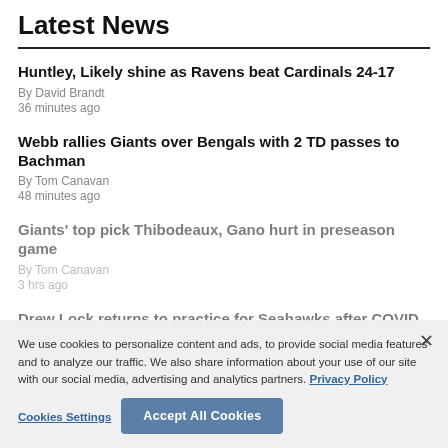Latest News
Huntley, Likely shine as Ravens beat Cardinals 24-17
By David Brandt
36 minutes ago
Webb rallies Giants over Bengals with 2 TD passes to Bachman
By Tom Canavan
48 minutes ago
Giants' top pick Thibodeaux, Gano hurt in preseason game
By Tom Canavan
3 hrs ago
Drew Lock returns to practice for Seahawks after COVID case
5 hrs ago
We use cookies to personalize content and ads, to provide social media features and to analyze our traffic. We also share information about your use of our site with our social media, advertising and analytics partners. Privacy Policy
Cookies Settings | Accept All Cookies